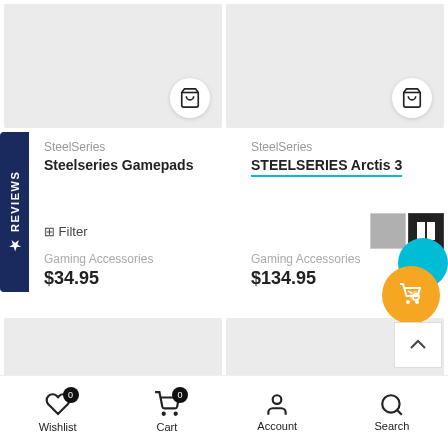[Figure (screenshot): Top product image cards with cart buttons, gray placeholder backgrounds]
SteelSeries
Steelseries Gamepads
SteelSeries
STEELSERIES Arctis 3
Filter
Gaming Accessories
$34.95
Gaming Accessories
$134.95
[Figure (screenshot): Lower product image cards, gray placeholder backgrounds]
Wishlist  Cart  Account  Search